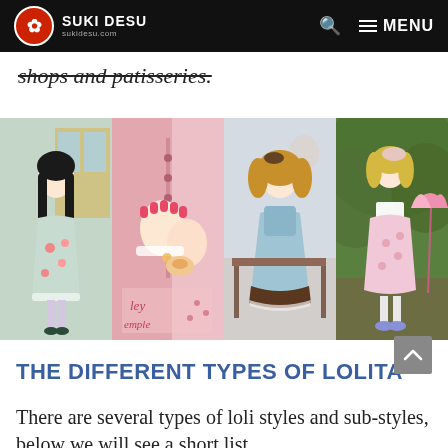SUKI DESU | sukidesu.com | MENU
shops and patisseries.
[Figure (photo): Four photos of young women wearing Lolita fashion: first in a mint green floral dress with black hair, second showing lace-decorated pink nails near a pink coat with text 'ley emple', third in a light blue Lolita dress with brown lace trim and curly hair, fourth in a pink floral print dress holding a pink umbrella outdoors.]
THE DIFFERENT TYPES OF LOLITA
There are several types of loli styles and sub-styles, below we will see a short list.